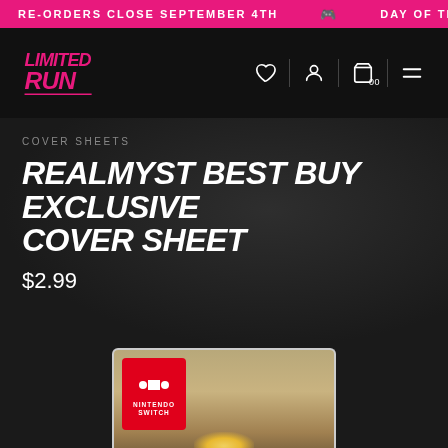RE-ORDERS CLOSE SEPTEMBER 4TH 🎮 DAY OF THE TENTA…
[Figure (logo): Limited Run Games logo in pink/magenta stylized text on black navbar with navigation icons (heart, user, cart, menu)]
COVER SHEETS
REALMYST BEST BUY EXCLUSIVE COVER SHEET
$2.99
[Figure (photo): Nintendo Switch game case with red Nintendo Switch label in top left corner, cover art showing a misty landscape with a glowing golden light source and silhouetted tree at the bottom center]